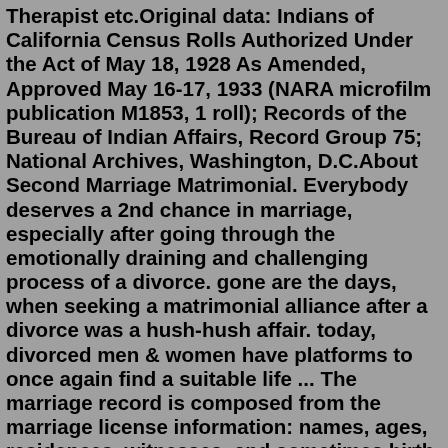Therapist etc.Original data: Indians of California Census Rolls Authorized Under the Act of May 18, 1928 As Amended, Approved May 16-17, 1933 (NARA microfilm publication M1853, 1 roll); Records of the Bureau of Indian Affairs, Record Group 75; National Archives, Washington, D.C.About Second Marriage Matrimonial. Everybody deserves a 2nd chance in marriage, especially after going through the emotionally draining and challenging process of a divorce. gone are the days, when seeking a matrimonial alliance after a divorce was a hush-hush affair. today, divorced men & women have platforms to once again find a suitable life ... The marriage record is composed from the marriage license information: names, ages, residences, witnesses, and sometimes birth dates, occupations, parents' names, and parents' addresses. Genealogically, this information can help to locate church records, newspaper accounts, and most importantly, an ancestor's maiden name.American Indian Matrimony, Matrimonial Service in USA for Indians,